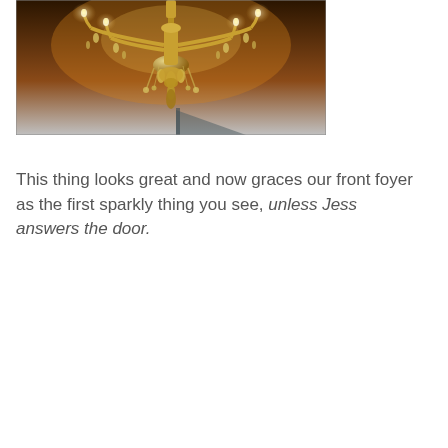[Figure (photo): A crystal chandelier with candle-style bulbs hanging from a ceiling, photographed from below. The chandelier has multiple arms, dangling crystal droplets, and emits warm golden light against a dark background.]
This thing looks great and now graces our front foyer as the first sparkly thing you see, unless Jess answers the door.